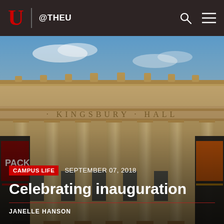U @THEU
[Figure (photo): Exterior facade of Kingsbury Hall, a neoclassical building with large columns and the building name engraved in stone. Colorful event posters visible on the sides. Blue sky in background.]
CAMPUS LIFE   SEPTEMBER 07, 2018
Celebrating inauguration
JANELLE HANSON